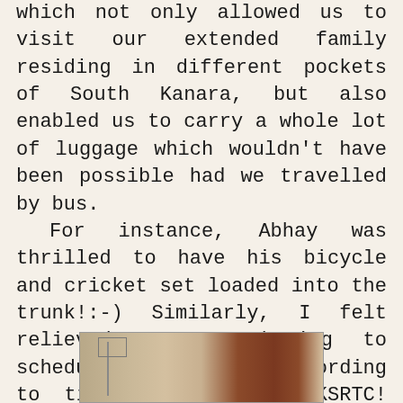which not only allowed us to visit our extended family residing in different pockets of South Kanara, but also enabled us to carry a whole lot of luggage which wouldn't have been possible had we travelled by bus. For instance, Abhay was thrilled to have his bicycle and cricket set loaded into the trunk!:-) Similarly, I felt relieved at not having to schedule our travel according to time-table of the KSRTC! (the inter-city public transit system at Karnataka) Anyway, as we drove up the driveway, we were delighted to be welcomed by the Warli painted wall by the entrance.
[Figure (photo): A photograph showing what appears to be a wall or entrance area, partially visible, with reddish-brown architectural elements on the right side and a lighter wall surface on the left.]